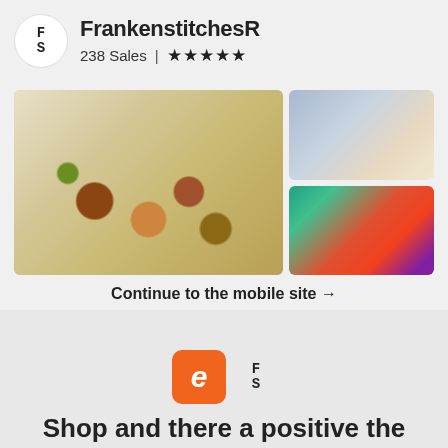FrankenstitchesR
238 Sales | ★★★★★
[Figure (photo): Three fabric pouches/bags with mushroom prints on light background, stacked together with zipper visible]
[Figure (photo): Folded fabric items with blue polka dot and floral patterns, labeled with 'frankenstite' tags]
[Figure (photo): Colorful fabric items including teal piece with 'OVE IS' text, rainbow/pride themed fabrics]
Continue to the mobile site →
[Figure (logo): Etsy orange square logo with letter E alongside FrankenstitchesR FS logo]
Shop and there a positive the